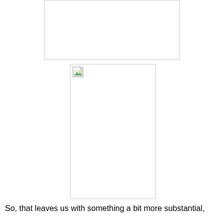[Figure (photo): Top image placeholder with broken image icon — white rectangle with light gray border]
[Figure (photo): Bottom image placeholder with broken image icon — tall white rectangle with light gray border]
So, that leaves us with something a bit more substantial,